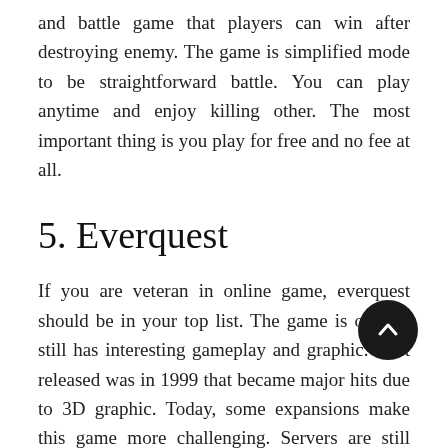and battle game that players can win after destroying enemy. The game is simplified mode to be straightforward battle. You can play anytime and enjoy killing other. The most important thing is you play for free and no fee at all.
5. Everquest
If you are veteran in online game, everquest should be in your top list. The game is old but still has interesting gameplay and graphic. First released was in 1999 that became major hits due to 3D graphic. Today, some expansions make this game more challenging. Servers are still working and more players join this game.
6. Runescape and OSRS